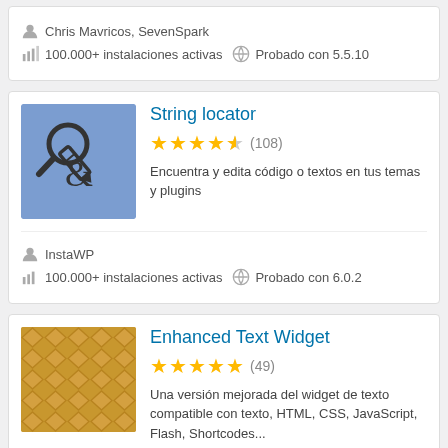Chris Mavricos, SevenSpark
100.000+ instalaciones activas  Probado con 5.5.10
String locator
4.5 stars (108)
Encuentra y edita código o textos en tus temas y plugins
InstaWP
100.000+ instalaciones activas  Probado con 6.0.2
Enhanced Text Widget
5 stars (49)
Una versión mejorada del widget de texto compatible con texto, HTML, CSS, JavaScript, Flash, Shortcodes...